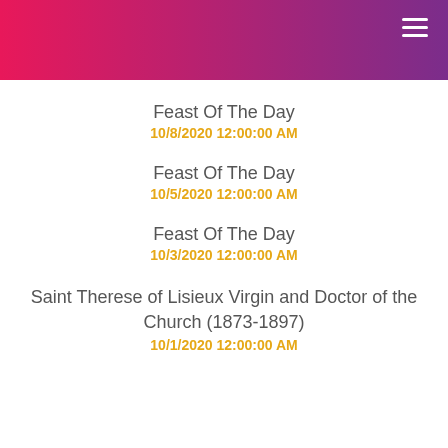Feast Of The Day
10/8/2020 12:00:00 AM
Feast Of The Day
10/5/2020 12:00:00 AM
Feast Of The Day
10/3/2020 12:00:00 AM
Saint Therese of Lisieux Virgin and Doctor of the Church (1873-1897)
10/1/2020 12:00:00 AM